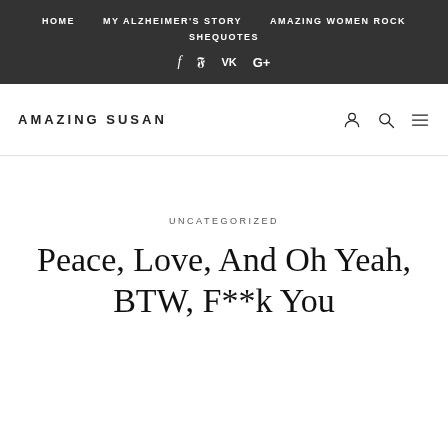HOME | MY ALZHEIMER'S STORY | AMAZING WOMEN ROCK | SHEQUOTES | f | Twitter | VK | G+
AMAZING SUSAN
UNCATEGORIZED
Peace, Love, And Oh Yeah, BTW, F**k You